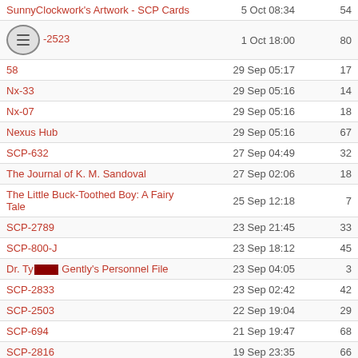| Title | Date | Count |
| --- | --- | --- |
| SunnyCockwork's Artwork - SCP Cards | 5 Oct 08:34 | 54 |
| -2523 | 1 Oct 18:00 | 80 |
| 58 | 29 Sep 05:17 | 17 |
| Nx-33 | 29 Sep 05:16 | 14 |
| Nx-07 | 29 Sep 05:16 | 18 |
| Nexus Hub | 29 Sep 05:16 | 67 |
| SCP-632 | 27 Sep 04:49 | 32 |
| The Journal of K. M. Sandoval | 27 Sep 02:06 | 18 |
| The Little Buck-Toothed Boy: A Fairy Tale | 25 Sep 12:18 | 7 |
| SCP-2789 | 23 Sep 21:45 | 33 |
| SCP-800-J | 23 Sep 18:12 | 45 |
| Dr. Ty[REDACTED] Gently's Personnel File | 23 Sep 04:05 | 3 |
| SCP-2833 | 23 Sep 02:42 | 42 |
| SCP-2503 | 22 Sep 19:04 | 29 |
| SCP-694 | 21 Sep 19:47 | 68 |
| SCP-2816 | 19 Sep 23:35 | 66 |
| Critiquing A Cardboard Box | 18 Sep 21:11 | 28 |
| SCP-SCP-J | 18 Sep 02:57 | 40 |
| Nondescript Nose | 18 Sep 01:26 | 12 |
| Ask Dr. Spanko | 17 Sep 04:27 | 33 |
| SCP-7000-J | 17 Sep 00:17 | 57 |
| SCP-938-J | 16 Sep 21:53 | 46 |
| Meteorique 2: Anomalous Art | 15 Sep 22:26 | 49 |